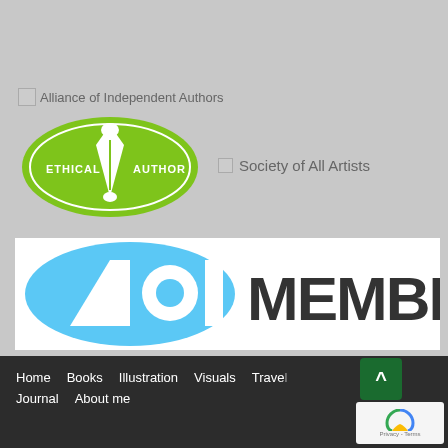[Figure (logo): Broken image icon followed by text 'Alliance of Independent Authors']
[Figure (logo): Green oval Ethical Author badge with pen nib icon, text ETHICAL AUTHOR]
[Figure (logo): Checkbox icon followed by text 'Society of All Artists']
[Figure (logo): AOI MEMBER banner — white rectangle with blue oval containing white AOI text and dark MEMBER text]
Home   Books   Illustration   Visuals   Travel   Journal   About me